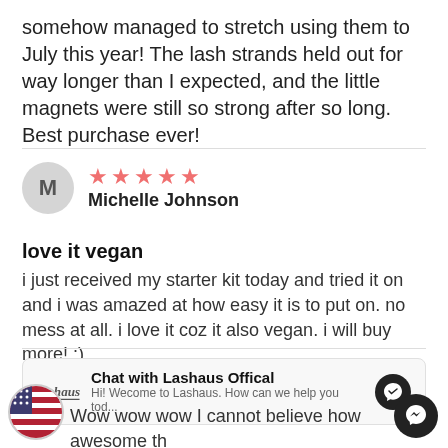somehow managed to stretch using them to July this year! The lash strands held out for way longer than I expected, and the little magnets were still so strong after so long. Best purchase ever!
M — Michelle Johnson — 5 stars
love it vegan
i just received my starter kit today and tried it on and i was amazed at how easy it is to put on. no mess at all. i love it coz it also vegan. i will buy more! :)
[Figure (screenshot): Chat widget: Chat with Lashaus Offical — Hi! Wecome to Lashaus. How can we help you tod...]
Wow wow wow I cannot believe how awesome th... I was a little skeptical at the idea of magnetic... lashes and was even more worried because I never